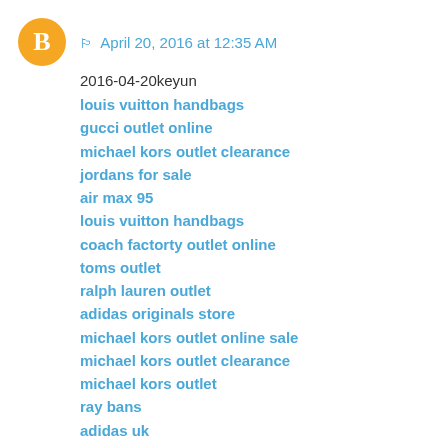April 20, 2016 at 12:35 AM
2016-04-20keyun
louis vuitton handbags
gucci outlet online
michael kors outlet clearance
jordans for sale
air max 95
louis vuitton handbags
coach factorty outlet online
toms outlet
ralph lauren outlet
adidas originals store
michael kors outlet online sale
michael kors outlet clearance
michael kors outlet
ray bans
adidas uk
longchamp le pliage
gucci outlet online
coach factory outlet
reb christian louboutin